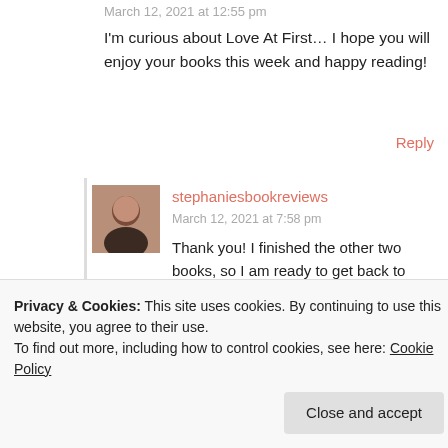March 12, 2021 at 12:55 pm
I'm curious about Love At First… I hope you will enjoy your books this week and happy reading!
Reply
stephaniesbookreviews
March 12, 2021 at 7:58 pm
Thank you! I finished the other two books, so I am ready to get back to Love at First. I'm in a slightly better mood, so hopefully that will help.
Privacy & Cookies: This site uses cookies. By continuing to use this website, you agree to their use.
To find out more, including how to control cookies, see here: Cookie Policy
Close and accept